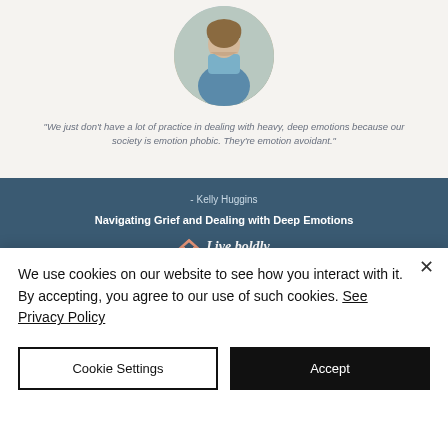[Figure (photo): Circular profile photo of a woman (Kelly Huggins) in a blue cardigan with layered necklaces, outdoors]
"We just don't have a lot of practice in dealing with heavy, deep emotions because our society is emotion phobic. They're emotion avoidant."
- Kelly Huggins
Navigating Grief and Dealing with Deep Emotions
[Figure (logo): Live Boldly logo with chevron/arrow icon and cursive text 'Live boldly']
[Figure (screenshot): Video thumbnail strip showing three panels: outdoor scene, woman with blonde hair, outdoor stone wall background]
We use cookies on our website to see how you interact with it. By accepting, you agree to our use of such cookies. See Privacy Policy
Cookie Settings
Accept